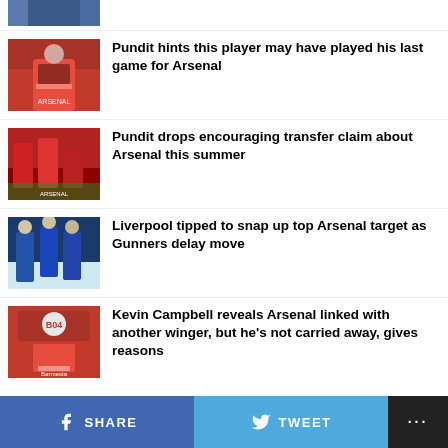[Figure (photo): Top partial thumbnail of a footballer in blue]
[Figure (photo): Arsenal player in red kit]
Pundit hints this player may have played his last game for Arsenal
[Figure (photo): Arsenal players celebrating in red kit]
Pundit drops encouraging transfer claim about Arsenal this summer
[Figure (photo): Liverpool/Everton players in blue kit]
Liverpool tipped to snap up top Arsenal target as Gunners delay move
[Figure (photo): Player in Bayer Leverkusen red kit]
Kevin Campbell reveals Arsenal linked with another winger, but he's not carried away, gives reasons
SHARE   TWEET   ...